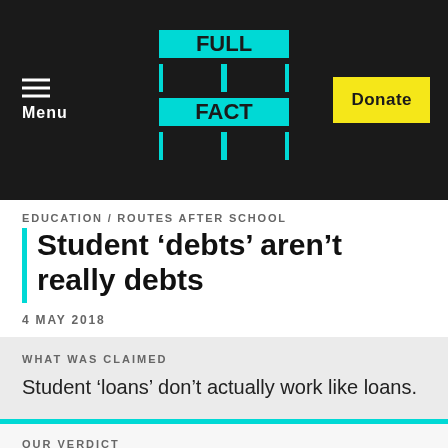Menu | FULL FACT | Donate
EDUCATION / ROUTES AFTER SCHOOL
Student 'debts' aren't really debts
4 MAY 2018
WHAT WAS CLAIMED
Student 'loans' don't actually work like loans.
OUR VERDICT
That's right. What you pay for your student 'loan' depends on what you